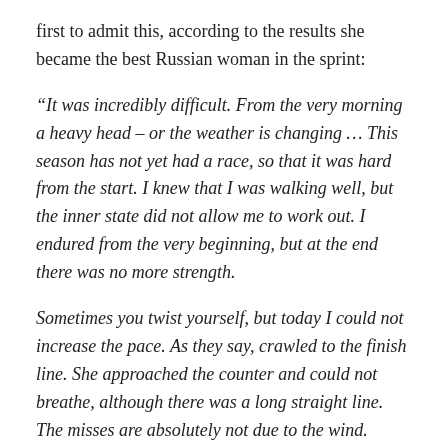first to admit this, according to the results she became the best Russian woman in the sprint:
“It was incredibly difficult. From the very morning a heavy head – or the weather is changing … This season has not yet had a race, so that it was hard from the start. I knew that I was walking well, but the inner state did not allow me to work out. I endured from the very beginning, but at the end there was no more strength.
Sometimes you twist yourself, but today I could not increase the pace. As they say, crawled to the finish line. She approached the counter and could not breathe, although there was a long straight line. The misses are absolutely not due to the wind. Thank God that there is speed with such a poor state of health, I stay close. Hopefully it w